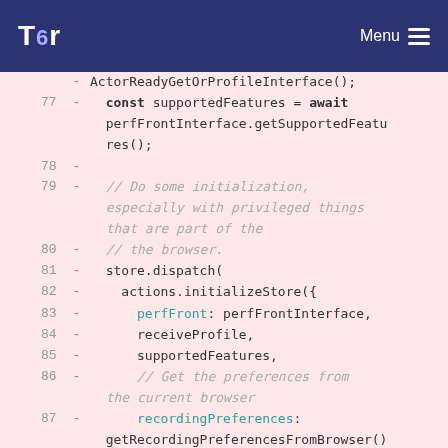Tor | Menu
[Figure (screenshot): Code diff viewer showing lines 77-88 of a JavaScript file with removed lines (prefixed with -) highlighted in pink background. Lines include: const supportedFeatures = await perfFrontInterface.getSupportedFeatures(); a blank removed line; a comment about initialization; store.dispatch(; actions.initializeStore({; perfFront: perfFrontInterface,; receiveProfile,; supportedFeatures,; a comment about getting preferences; recordingPreferences: getRecordingPreferencesFromBrowser(),; and a comment about the popup.]